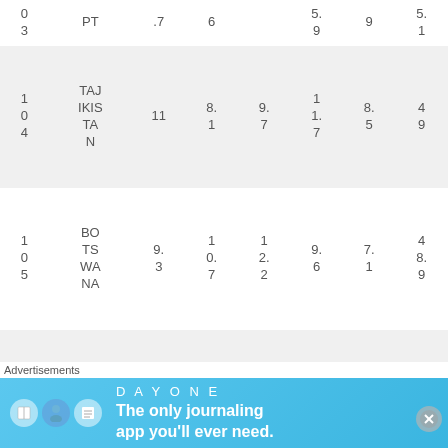| # | Country | Col3 | Col4 | Col5 | Col6 | Col7 | Col8 |
| --- | --- | --- | --- | --- | --- | --- | --- |
| 0
3 | PT | .7 | 6 |  | 5.
9 | 9 | 5.
1 |
| 1
0
4 | TAJIKISTAN | 11 | 8.
1 | 9.
7 | 1
1.
7 | 8.
5 | 4
9 |
| 1
0
5 | BOTSWANA | 9.
3 | 1
0.
7 | 1
2.
2 | 9.
6 | 7.
1 | 4
8.
9 |
| 1
0
6 | HAITI | 10
.6 | 1
1.
0 | 1
0.
0 | 6.
2 | 9.
1 | 4
8.
7 |
[Figure (other): Advertisement banner for Day One journaling app with blue background, icons, and text: 'The only journaling app you'll ever need.']